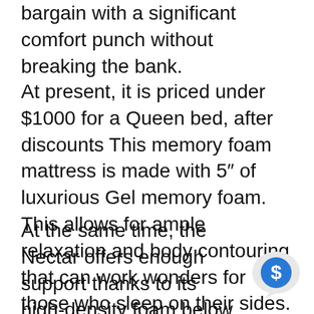bargain with a significant comfort punch without breaking the bank.
At present, it is priced under $1000 for a Queen bed, after discounts This memory foam mattress is made with 5″ of luxurious Gel memory foam. This allows for ample relaxation and body contouring that can work wonders for those who sleep on their sides. They will also feel extreme pressure relief as well as soft support around the hips and shoulders.
At the same time, the Nectar offers enough support thanks to its high-density foam below for those who sleep on their back and will appreciate the moderate level of firmness. Additionally, the memory foam is
[Figure (other): Chat bubble icon with dollar sign symbol in blue]